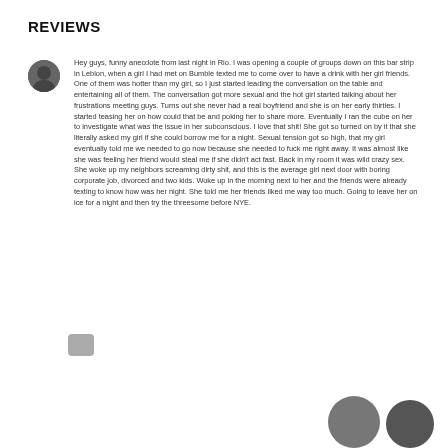REVIEWS
Hey guys, funny anecdote from last night in Rio. I was opening a couple of groups down on this bar strip in Leblon, when a girl I had met on Bumble texted me to come over to have a drink with her girl friends. One of them was hotter than my girl, so I just started leading the conversation on the table and entertaining all of them. The conversation got more sexual and the hot girl started talking about her frustrations meeting guys. Turns out she never had a real boyfriend and she is on her early thirties. I started teasing her on how could that be and poking her to share more. Eventually I ran the cube on her to investigate what was the issue in her subconscious. I love that shit! She got so turned on by it that she literally asked my girl if she could borrow me for a night. Sexual tension got so high, that my girl eventually told me we needed to go now because she needed to fuck me right away. It was almost like she was feeling her friend would steal me if she didn't act fast. Back in my room it was wild crazy sex. She woke up my neighbors screaming dirty shit, and this is the average girl next door with boring corporate job, divorced and two kids. Woke up in the morning next to her and the friends were already texting to know how was her night. She told me her friends liked me way too much. Going to leave her on ice for a night and then try the threesome before NYE.